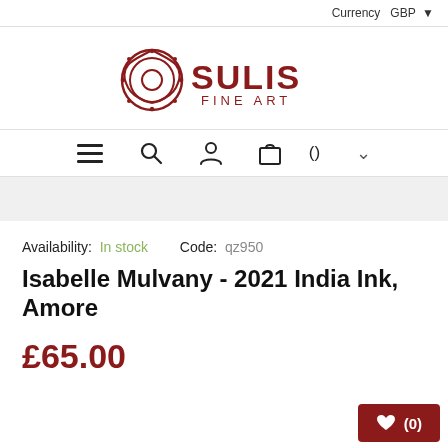Currency  GBP
[Figure (logo): Sulis Fine Art logo with decorative circular emblem and text SULIS FINE ART in dark red]
[Figure (other): Navigation bar with hamburger menu icon, search icon, account icon, bag icon, count, and dropdown arrow]
Availability: In stock    Code: qz950
Isabelle Mulvany - 2021 India Ink, Amore
£65.00
[Figure (other): Dark red wishlist button with heart icon and count (0)]